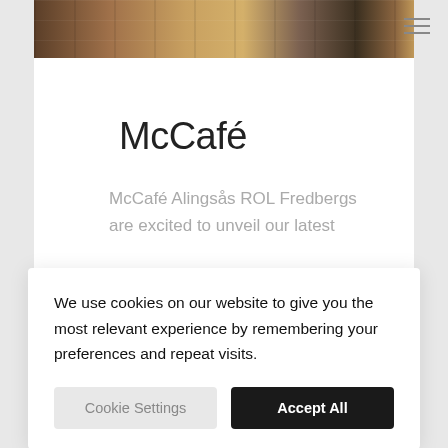[Figure (photo): Hero image of a McCafé interior with cafe seating and warm wood tones]
McCafé
McCafé Alingsås ROL Fredbergs are excited to unveil our latest
We use cookies on our website to give you the most relevant experience by remembering your preferences and repeat visits.
Cookie Settings
Accept All